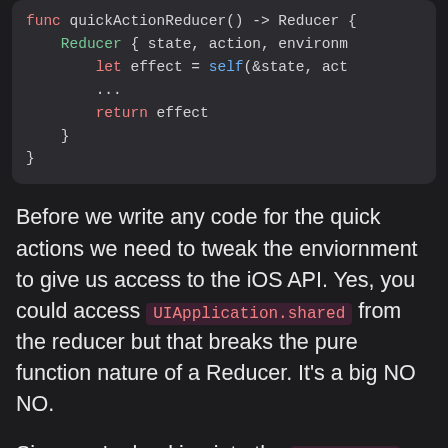[Figure (screenshot): Code block showing Swift/TCA reducer code snippet with syntax highlighting on dark background. Shows partial function with Reducer, let effect = self(&state, act..., return effect, closing braces.]
Before we write any code for the quick actions we need to tweak the enviornment to give us access to the iOS API. Yes, you could access UIApplication.shared from the reducer but that breaks the pure function nature of a Reducer. It's a big NO NO.
Since we're hooking into the appReducer